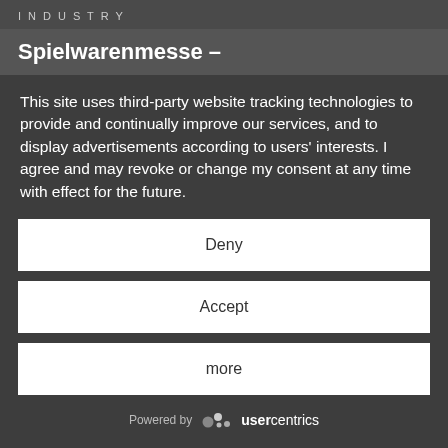I N D U S T R Y
Spielwarenmesse –
This site uses third-party website tracking technologies to provide and continually improve our services, and to display advertisements according to users' interests. I agree and may revoke or change my consent at any time with effect for the future.
Deny
Accept
more
Powered by usercentrics